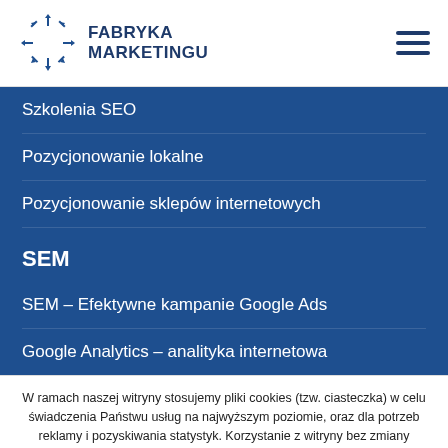FABRYKA MARKETINGU
Szkolenia SEO
Pozycjonowanie lokalne
Pozycjonowanie sklepów internetowych
SEM
SEM – Efektywne kampanie Google Ads
Google Analytics – analityka internetowa
W ramach naszej witryny stosujemy pliki cookies (tzw. ciasteczka) w celu świadczenia Państwu usług na najwyższym poziomie, oraz dla potrzeb reklamy i pozyskiwania statystyk. Korzystanie z witryny bez zmiany ustawień dotyczących cookies oznacza, że
Akceptuję
Odrzucam
Czytaj więcej.